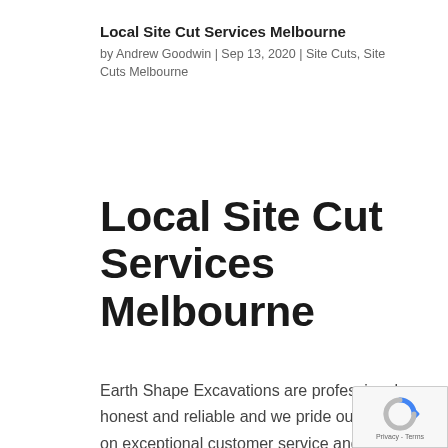Local Site Cut Services Melbourne
by Andrew Goodwin | Sep 13, 2020 | Site Cuts, Site Cuts Melbourne
Local Site Cut Services Melbourne
Earth Shape Excavations are professional, honest and reliable and we pride ourselves on exceptional customer service and workmanship.  If you are looking for an experience local operator, look no further.
We provide nothing less than high quality site cuts for your new shed or perhaps a